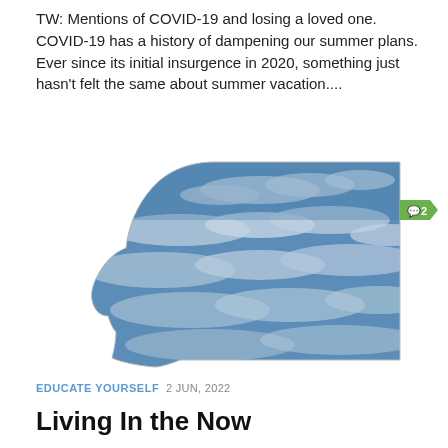TW: Mentions of COVID-19 and losing a loved one. COVID-19 has a history of dampening our summer plans. Ever since its initial insurgence in 2020, something just hasn’t felt the same about summer vacation....
[Figure (illustration): A human head silhouette in profile facing left, filled with an image of a blue sky with scattered white clouds, creating a double-exposure effect. A green comment badge showing a chat icon and the number 2 is overlaid in the upper right area of the image.]
EDUCATE YOURSELF  2 JUN, 2022
Living In the Now